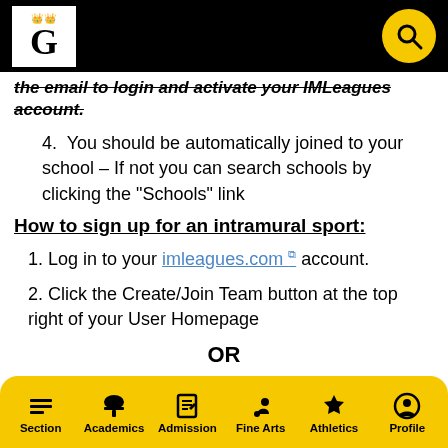Gustavus Adolphus College header with logo and search
the email to login and activate your IMLeagues account.
4.  You should be automatically joined to your school – If not you can search schools by clicking the "Schools" link
How to sign up for an intramural sport:
1. Log in to your imleagues.com account.
2. Click the Create/Join Team button at the top right of your User Homepage
OR
Click on the "Gustavus Adolphus College" link to go to the Gustavus homepage on imleagues.com
Section  Academics  Admission  Fine Arts  Athletics  Profile